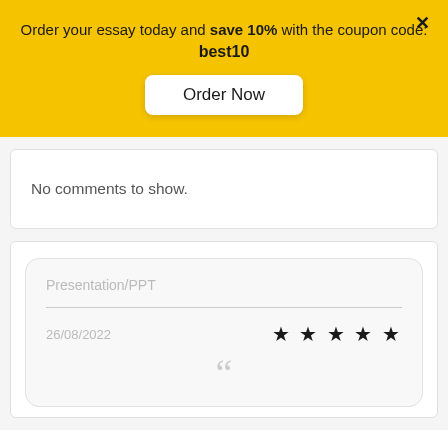Order your essay today and save 10% with the coupon code: best10
Order Now
×
No comments to show.
Presentation/PPT
26/08/2022
[Figure (other): Five black star rating icons]